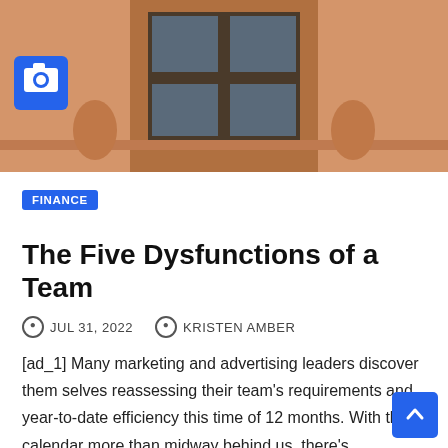[Figure (photo): Photograph of a sandstone-colored building facade with ornate window and decorative statues, with a blue camera icon badge overlay in the lower left]
FINANCE
The Five Dysfunctions of a Team
JUL 31, 2022   KRISTEN AMBER
[ad_1] Many marketing and advertising leaders discover them selves reassessing their team's requirements and year-to-date efficiency this time of 12 months. With the calendar more than midway behind us, there's…